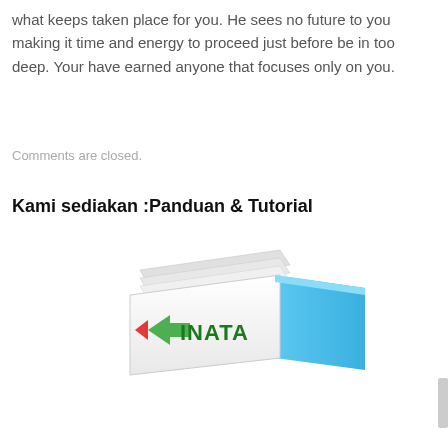what keeps taken place for you. He sees no future to you making it time and energy to proceed just before be in too deep. Your have earned anyone that focuses only on you.
Comments are closed.
Kami sediakan :Panduan & Tutorial
[Figure (illustration): A tilted open book with a colorful cover showing partial text 'INATA' and a blue back cover, spread open at an angle.]